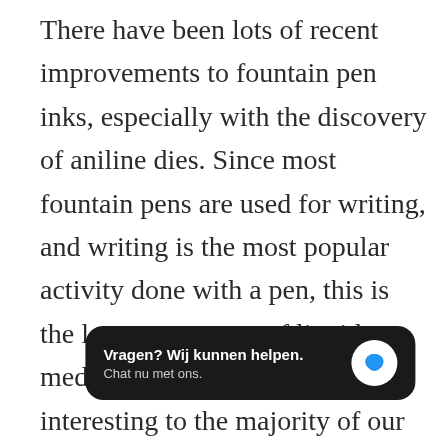There have been lots of recent improvements to fountain pen inks, especially with the discovery of aniline dies. Since most fountain pens are used for writing, and writing is the most popular activity done with a pen, this is the largest category of liquid media. It is also the least interesting to the majority of our users who prefer inks and paints that le[ave more room for] desig[ners who have been making them fo]r 100 years or more.